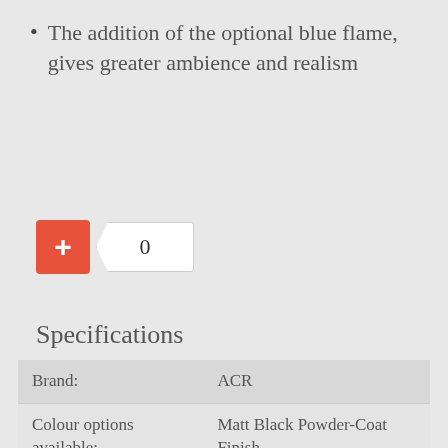The addition of the optional blue flame, gives greater ambience and realism
[Figure (other): Add to basket UI element: orange/red plus button next to a quantity input box showing 0]
Specifications
| Brand: | ACR |
| Colour options available: | Matt Black Powder-Coat Finish |
| Width: | 543mm |
| Depth: | 334mm |